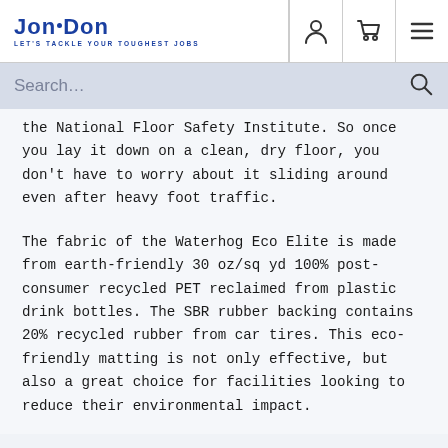Jon·Don — LET'S TACKLE YOUR TOUGHEST JOBS
the National Floor Safety Institute. So once you lay it down on a clean, dry floor, you don't have to worry about it sliding around even after heavy foot traffic.
The fabric of the Waterhog Eco Elite is made from earth-friendly 30 oz/sq yd 100% post-consumer recycled PET reclaimed from plastic drink bottles. The SBR rubber backing contains 20% recycled rubber from car tires. This eco-friendly matting is not only effective, but also a great choice for facilities looking to reduce their environmental impact.